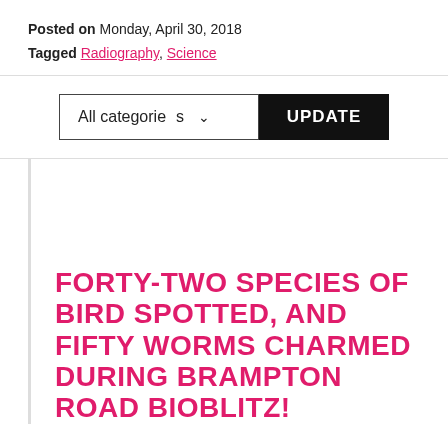Posted on Monday, April 30, 2018
Tagged Radiography, Science
[Figure (screenshot): Filter bar with 'All categories' dropdown and 'UPDATE' button]
FORTY-TWO SPECIES OF BIRD SPOTTED, AND FIFTY WORMS CHARMED DURING BRAMPTON ROAD BIOBLITZ!